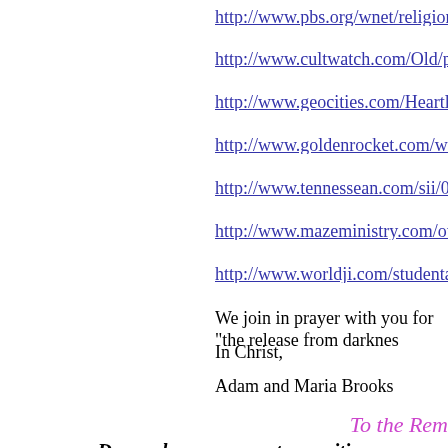http://www.pbs.org/wnet/religionandethics/week431/pro
http://www.cultwatch.com/Old/press20001203.html
http://www.geocities.com/Heartland/Valley/2854/Rebutt
http://www.goldenrocket.com/weighdownresponse.html
http://www.tennessean.com/sii/00/09/15/gwenbook15.sh
http://www.mazeministry.com/othersects/weighdown/we
http://www.worldji.com/studentarticles.asp?news_id=68
We join in prayer with you for "the release from darknes
In Christ,
Adam and Maria Brooks
To the Rem
Do you have comments or criti
Are there questions you'd like t